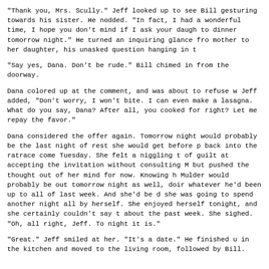"Thank you, Mrs. Scully." Jeff looked up to see Bill gesturing towards his sister. He nodded. "In fact, I had a wonderful time, I hope you don't mind if I ask your daughter to dinner tomorrow night." He turned an inquiring glance from mother to her daughter, his unasked question hanging in the air.
"Say yes, Dana. Don't be rude." Bill chimed in from the doorway.
Dana colored up at the comment, and was about to refuse when Jeff added, "Don't worry, I won't bite. I can even make a mean lasagna. What do you say, Dana? After all, you cooked for me, right? Let me repay the favor."
Dana considered the offer again. Tomorrow night would probably be the last night of rest she would get before plunging back into the ratrace come Tuesday. She felt a niggling twinge of guilt at accepting the invitation without consulting Mulder, but pushed the thought out of her mind for now. Knowing him, Mulder would probably be out tomorrow night as well, doing whatever he'd been up to all of last week. And she'd be damned if she was going to spend another night all by herself. She had enjoyed herself tonight, and she certainly couldn't say that about the past week. She sighed. "Oh, all right, Jeff. Tomorrow night it is."
"Great." Jeff smiled at her. "It's a date." He finished up in the kitchen and moved to the living room, followed by Bill.